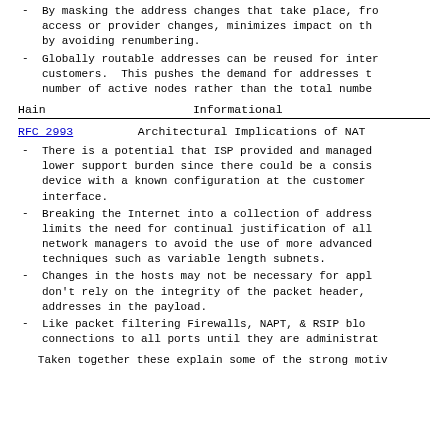By masking the address changes that take place, from access or provider changes, minimizes impact on the by avoiding renumbering.
Globally routable addresses can be reused for inter customers. This pushes the demand for addresses to number of active nodes rather than the total number
Hain                         Informational
RFC 2993        Architectural Implications of NAT
There is a potential that ISP provided and managed lower support burden since there could be a consist device with a known configuration at the customer e interface.
Breaking the Internet into a collection of address limits the need for continual justification of allo network managers to avoid the use of more advanced techniques such as variable length subnets.
Changes in the hosts may not be necessary for appli don't rely on the integrity of the packet header, o addresses in the payload.
Like packet filtering Firewalls, NAPT, & RSIP bloc connections to all ports until they are administrat
Taken together these explain some of the strong moti